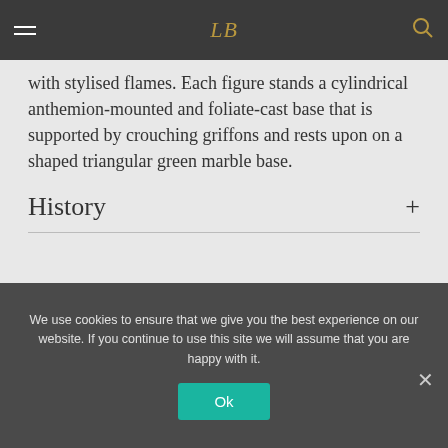Navigation bar with hamburger menu, logo, and search icon
with stylised flames. Each figure stands a cylindrical anthemion-mounted and foliate-cast base that is supported by crouching griffons and rests upon on a shaped triangular green marble base.
History
We use cookies to ensure that we give you the best experience on our website. If you continue to use this site we will assume that you are happy with it.